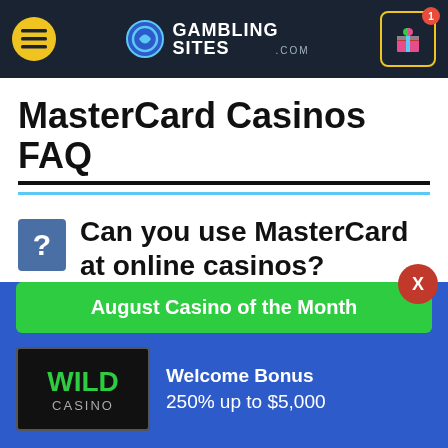GAMBLING SITES .COM
MasterCard Casinos FAQ
Can you use MasterCard at online casinos?
August Casino of the Month
Welcome Bonus
250% up to $5,000
VISIT SITE ▶